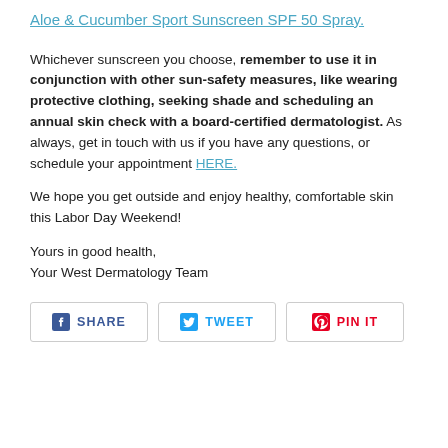Aloe & Cucumber Sport Sunscreen SPF 50 Spray.
Whichever sunscreen you choose, remember to use it in conjunction with other sun-safety measures, like wearing protective clothing, seeking shade and scheduling an annual skin check with a board-certified dermatologist. As always, get in touch with us if you have any questions, or schedule your appointment HERE.
We hope you get outside and enjoy healthy, comfortable skin this Labor Day Weekend!
Yours in good health,
Your West Dermatology Team
[Figure (infographic): Social sharing buttons: Facebook Share, Twitter Tweet, Pinterest Pin It]